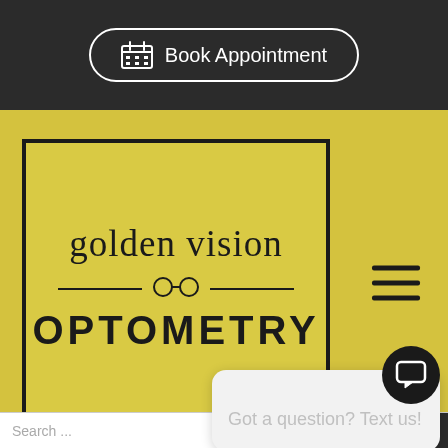[Figure (screenshot): Dark navigation bar with 'Book Appointment' button in white rounded rectangle]
[Figure (logo): Golden Vision Optometry logo on yellow background with glasses icon, inside a black-bordered rectangle. Hamburger menu icon on the right.]
as soon as signs or symptoms are present
Make sure that your child has t... success in school and add a c... back to school to-do list.
[Figure (screenshot): Chat popup widget with text 'Got a question? Text us!' and close X button, with speech bubble tail and dark chat icon button in bottom right]